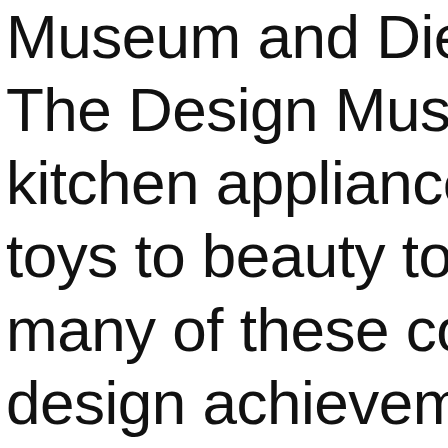Museum and Die No The Design Museum kitchen appliances a toys to beauty tools many of these color design achievement right, and represent aesthetic favored by countries following W